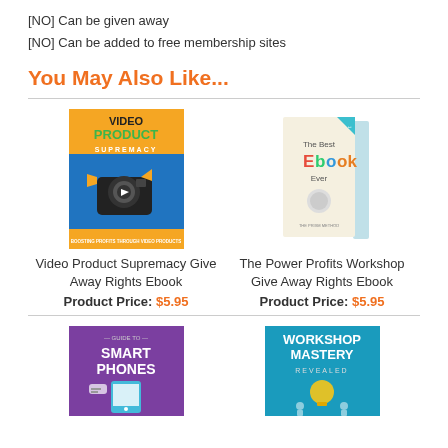[NO] Can be given away
[NO] Can be added to free membership sites
You May Also Like...
[Figure (illustration): Video Product Supremacy ebook cover - orange/blue with video camera graphic]
Video Product Supremacy Give Away Rights Ebook
Product Price: $5.95
[Figure (illustration): The Best Ebook Ever - 3D book cover in teal/white]
The Power Profits Workshop Give Away Rights Ebook
Product Price: $5.95
[Figure (illustration): Guide to Smartphones - purple cover with phone graphic]
[Figure (illustration): Workshop Mastery Revealed - teal cover with lightbulb graphic]